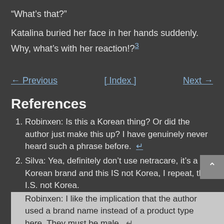“What’s that?”
Katalina buried her face in her hands suddenly. Why, what’s with her reaction!?³
← Previous   [ Index ]   Next →
References
Robinxen: Is this a Korean thing? Or did the author just make this up? I have genuinely never heard such a phrase before.  ↵
Silva: Yea, definitely don’t use netracare, it’s a Korean brand and this IS not Korea, I repeat, this I.S. not Korea. Robinxen: I like the implication that the author used a brand name instead of a product type here. They must be male.  ↵